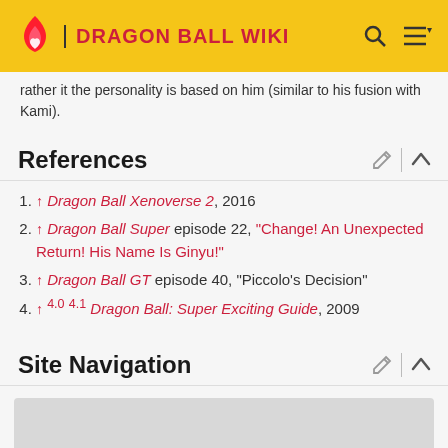DRAGON BALL WIKI
rather it the personality is based on him (similar to his fusion with Kami).
References
↑ Dragon Ball Xenoverse 2, 2016
↑ Dragon Ball Super episode 22, "Change! An Unexpected Return! His Name Is Ginyu!"
↑ Dragon Ball GT episode 40, "Piccolo's Decision"
↑ 4.0 4.1 Dragon Ball: Super Exciting Guide, 2009
Site Navigation
[Figure (other): Gray placeholder box at bottom of page]